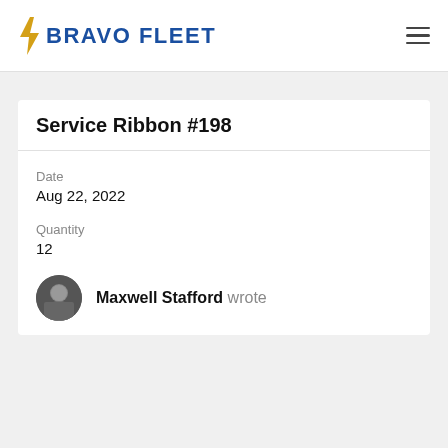BRAVO FLEET
Service Ribbon #198
Date
Aug 22, 2022
Quantity
12
Maxwell Stafford wrote